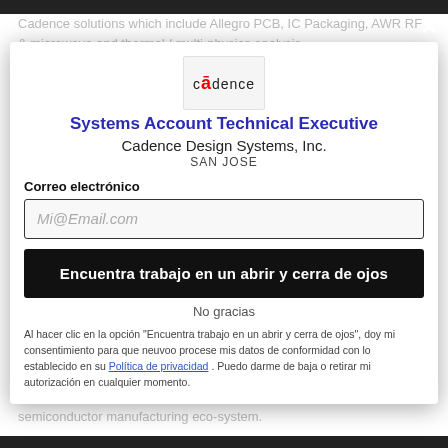Cadence solutions which include Allegro PCB, IC Packaging, AWR RF & microwave and thermal / multi-physics analysis. You will take responsibility of business lines affiliated with technology and be accountable with the wider Cadence team of designers and factory personnel. You will need to rely on your relationships, knowledge, and communication skills to connect with business and understanding of EDA tools: Systems / PCB / RF / IC design and the semiconductor manufacturing eco-system.
[Figure (logo): Cadence logo in a light grey bordered box]
Systems Account Technical Executive
Cadence Design Systems, Inc.
SAN JOSE
Correo electrónico
Mi@Email.com
Encuentra trabajo en un abrir y cerra de ojos
No gracias
Al hacer clic en la opción "Encuentra trabajo en un abrir y cerra de ojos", doy mi consentimiento para que neuvoo procese mis datos de conformidad con lo establecido en su Política de privacidad . Puedo darme de baja o retirar mi autorización en cualquier momento.